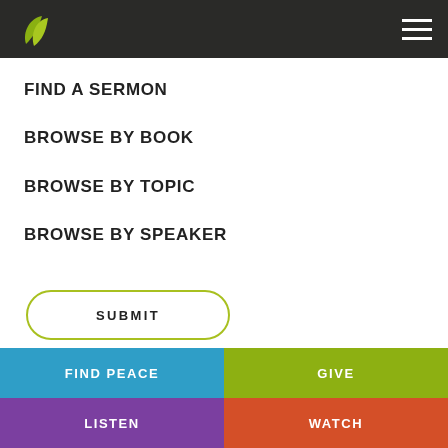Navigation header with logo and hamburger menu
FIND A SERMON
BROWSE BY BOOK
BROWSE BY TOPIC
BROWSE BY SPEAKER
SUBMIT
FIND PEACE
GIVE
LISTEN
WATCH